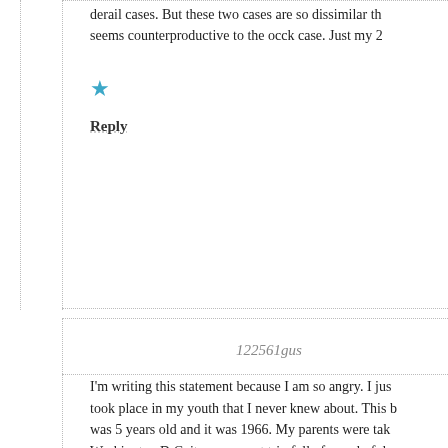derail cases. But these two cases are so dissimilar that it seems counterproductive to the occk case. Just my 2
★
Reply
122561gus
I'm writing this statement because I am so angry. I just took place in my youth that I never knew about. This I was 5 years old and it was 1966. My parents were ta Washington D.C. it was a great trip full of wonderful m going through some old photo albums. In the albums a young boy about 10 years old in them. I asked my p was and I couldn't believe the story they told me.
My father was a dentist practicing in the Lansing area them would meet downtown near the Capital for lunch my father told his friends about our up coming trip to